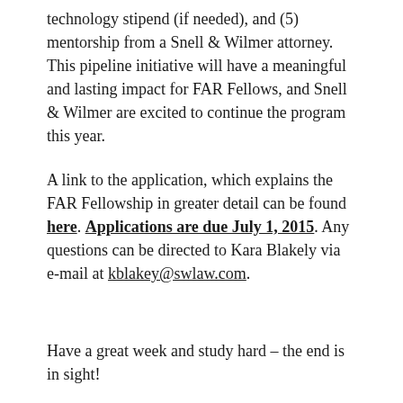technology stipend (if needed), and (5) mentorship from a Snell & Wilmer attorney. This pipeline initiative will have a meaningful and lasting impact for FAR Fellows, and Snell & Wilmer are excited to continue the program this year.
A link to the application, which explains the FAR Fellowship in greater detail can be found here. Applications are due July 1, 2015. Any questions can be directed to Kara Blakely via e-mail at kblakey@swlaw.com.
Have a great week and study hard – the end is in sight!